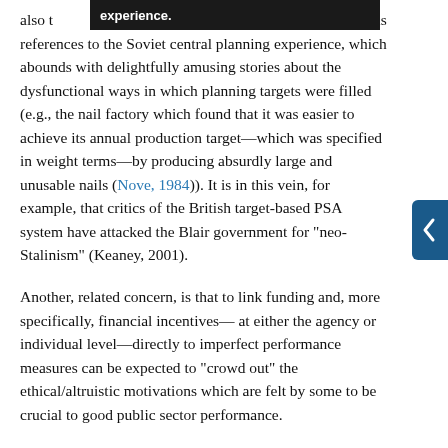also t[...] one of this school of critics is references to the Soviet central planning experience, which abounds with delightfully amusing stories about the dysfunctional ways in which planning targets were filled (e.g., the nail factory which found that it was easier to achieve its annual production target—which was specified in weight terms—by producing absurdly large and unusable nails (Nove, 1984)). It is in this vein, for example, that critics of the British target-based PSA system have attacked the Blair government for "neo-Stalinism" (Keaney, 2001).
Another, related concern, is that to link funding and, more specifically, financial incentives— at either the agency or individual level—directly to imperfect performance measures can be expected to "crowd out" the ethical/altruistic motivations which are felt by some to be crucial to good public sector performance.
These critiques in turn raise further important issues. Both the critics and the proponents of contemporary forms of performance budgeting assume that